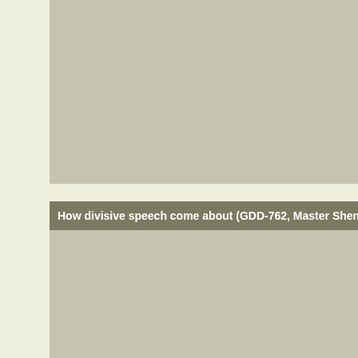[Figure (photo): Large grey rectangular image block at the top of the page]
How divisive speech come about (GDD-762, Master Sheng-
[Figure (photo): Large grey rectangular image block at the bottom of the page]